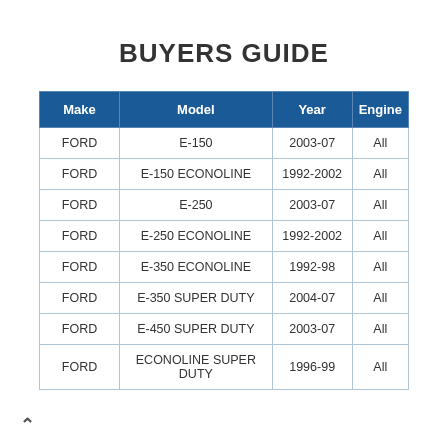BUYERS GUIDE
| Make | Model | Year | Engine |
| --- | --- | --- | --- |
| FORD | E-150 | 2003-07 | All |
| FORD | E-150 ECONOLINE | 1992-2002 | All |
| FORD | E-250 | 2003-07 | All |
| FORD | E-250 ECONOLINE | 1992-2002 | All |
| FORD | E-350 ECONOLINE | 1992-98 | All |
| FORD | E-350 SUPER DUTY | 2004-07 | All |
| FORD | E-450 SUPER DUTY | 2003-07 | All |
| FORD | ECONOLINE SUPER DUTY | 1996-99 | All |